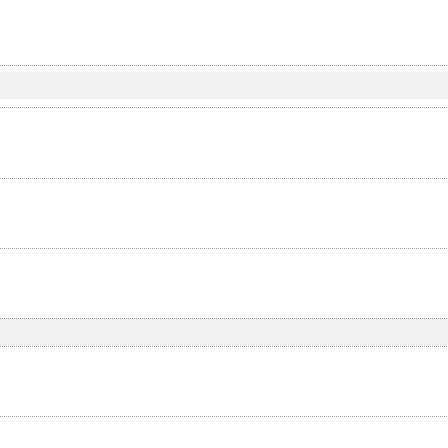7. Philosophy Now: Volume > 15 | Clinton Van Inman The Song... | view | rights & permissions | c
The Greeks
8. Philosophy Now: Volume > 15 | Michael Baumann The Pande... | view | rights & permissions | c
9. Philosophy Now: Volume > 15 | Lawrence Evans Aristotle's G... | view | rights & permissions | c
10. Philosophy Now: Volume > 15 | Dennis Sansom The Uses & M... | view | rights & permissions | c
Fun, Poetry & Fiction
11. Philosophy Now: Volume > 15 | Wolfgang Niesielski Socrates... | view | rights & permissions | c
12. Philosophy Now: Volume > 15 | Melissa Felder Simon & Finn... | view | rights & permissions | c
The Greeks